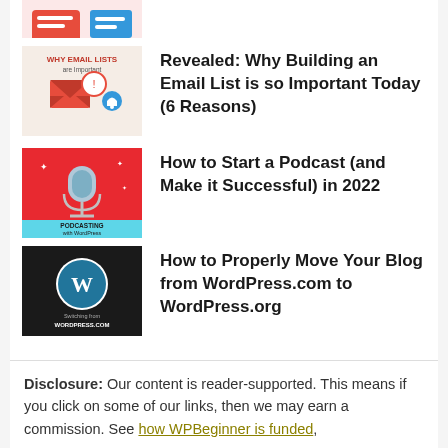[Figure (illustration): Partial thumbnail of an illustration with red and blue graphic elements, cropped at top]
Revealed: Why Building an Email List is so Important Today (6 Reasons)
[Figure (illustration): Thumbnail for email list article: light pink background with 'WHY EMAIL LISTS are Important' text and email/notification icons]
How to Start a Podcast (and Make it Successful) in 2022
[Figure (illustration): Thumbnail for podcast article: red background with microphone icon, cyan bottom bar reading 'PODCASTING with WordPress']
How to Properly Move Your Blog from WordPress.com to WordPress.org
[Figure (illustration): Thumbnail for WordPress migration article: black background with WordPress logo and text 'Switching from WORDPRESS.COM']
Disclosure: Our content is reader-supported. This means if you click on some of our links, then we may earn a commission. See how WPBeginner is funded,